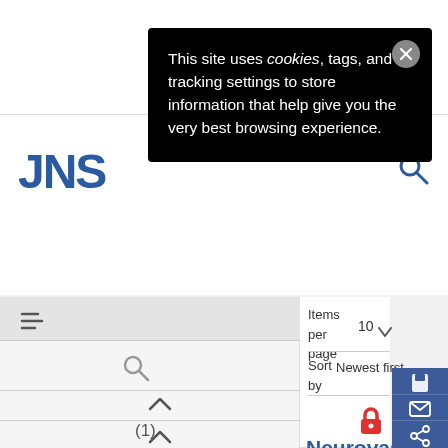[Figure (screenshot): JNS journal website screenshot showing a cookie consent popup overlay on a search results page. The popup reads: 'This site uses cookies, tags, and tracking settings to store information that help give you the very best browsing experience.' with a close (X) button. Behind it: JNS logo in blue, a search icon, filter bar, sidebar with search and chevrons and a (1) count, and a right panel showing Items per page: 10, Sort by: Newest first, a lock icon, and article title beginning 'Neurovascular structures'. A dark blue panel on the right edge has save, email, and share icons.]